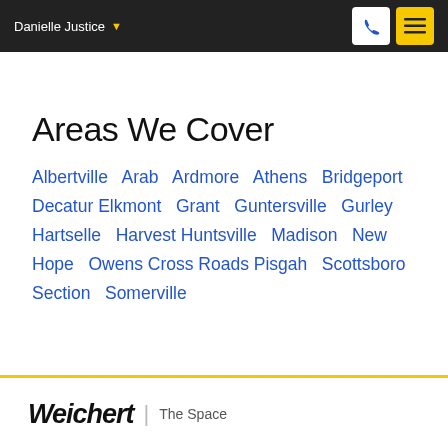Danielle Justice
Areas We Cover
Albertville  Arab  Ardmore  Athens  Bridgeport  Decatur  Elkmont  Grant  Guntersville  Gurley  Hartselle  Harvest  Huntsville  Madison  New Hope  Owens Cross Roads  Pisgah  Scottsboro  Section  Somerville
[Figure (logo): Weichert | The Space logo at bottom of page]